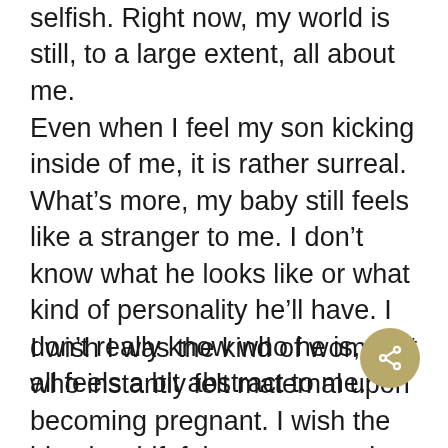selfish. Right now, my world is still, to a large extent, all about me.
Even when I feel my son kicking inside of me, it is rather surreal. What’s more, my baby still feels like a stranger to me. I don’t know what he looks like or what kind of personality he’ll have. I don’t really know who he is, so it all feels a bit abstract to me.
I wish I was the kind of woman who instantly felt maternal upon becoming pregnant. I wish the identity shift felt more natural, and I wish I could step into it like it is